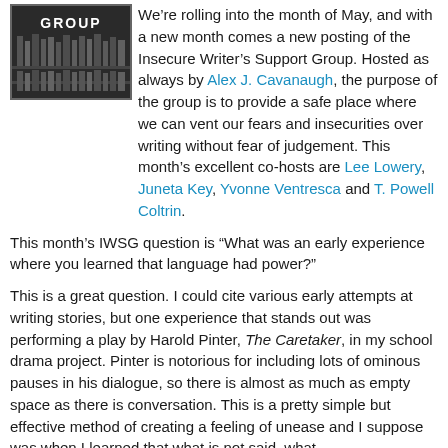[Figure (photo): Insecure Writer's Support Group image with text 'GROUP' in bold white letters on a dark background with what appears to be library shelves]
We’re rolling into the month of May, and with a new month comes a new posting of the Insecure Writer’s Support Group. Hosted as always by Alex J. Cavanaugh, the purpose of the group is to provide a safe place where we can vent our fears and insecurities over writing without fear of judgement. This month’s excellent co-hosts are Lee Lowery, Juneta Key, Yvonne Ventresca and T. Powell Coltrin.
This month’s IWSG question is "What was an early experience where you learned that language had power?"
This is a great question. I could cite various early attempts at writing stories, but one experience that stands out was performing a play by Harold Pinter, The Caretaker, in my school drama project. Pinter is notorious for including lots of ominous pauses in his dialogue, so there is almost as much as empty space as there is conversation. This is a pretty simple but effective method of creating a feeling of unease and I suppose was when I learned that what is not said, what